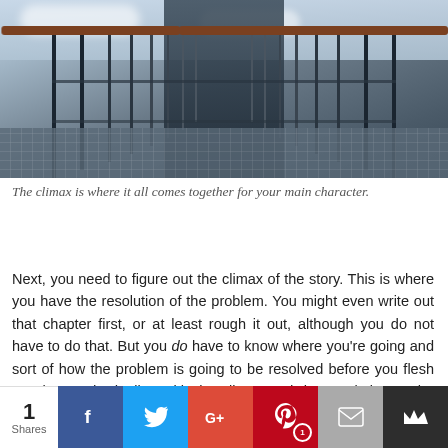[Figure (photo): Photo of a bridge walkway with metal railings and wooden handrail, viewed from one end looking down the length of the structure, with cloudy sky in the background.]
The climax is where it all comes together for your main character.
Next, you need to figure out the climax of the story. This is where you have the resolution of the problem. You might even write out that chapter first, or at least rough it out, although you do not have to do that. But you do have to know where you're going and sort of how the problem is going to be resolved before you flesh out the words dealing with the climax and the resolution to the problem.
Now you say well, you skipped a step. Well. when you're
1 Shares | Facebook | Twitter | Google+ | Pinterest 1 | Email | Crown